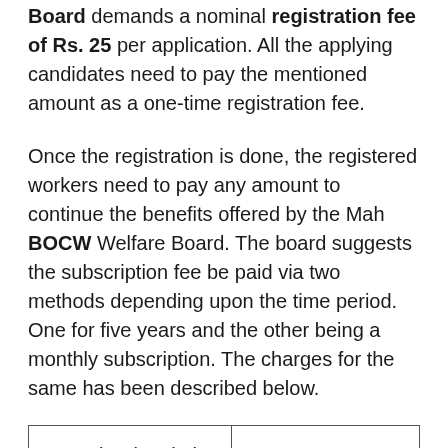Board demands a nominal registration fee of Rs. 25 per application. All the applying candidates need to pay the mentioned amount as a one-time registration fee.
Once the registration is done, the registered workers need to pay any amount to continue the benefits offered by the Mah BOCW Welfare Board. The board suggests the subscription fee be paid via two methods depending upon the time period. One for five years and the other being a monthly subscription. The charges for the same has been described below.
|  |  |
| --- | --- |
| Annual Subscription of five years | Rs. 60/- |
|  |  |